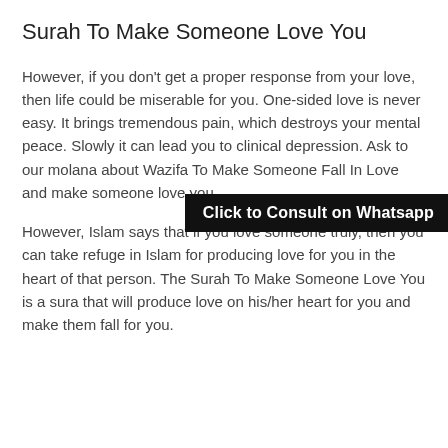Surah To Make Someone Love You
However, if you don't get a proper response from your love, then life could be miserable for you. One-sided love is never easy. It brings tremendous pain, which destroys your mental peace. Slowly it can lead you to clinical depression. Ask to our molana about Wazifa To Make Someone Fall In Love and make someone love you.
[Figure (other): Black banner overlay with text: Click to Consult on Whatsapp]
However, Islam says that if you love someone truly, then you can take refuge in Islam for producing love for you in the heart of that person. The Surah To Make Someone Love You is a sura that will produce love on his/her heart for you and make them fall for you.